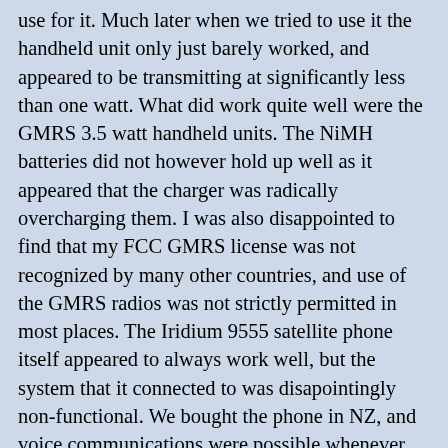use for it. Much later when we tried to use it the handheld unit only just barely worked, and appeared to be transmitting at significantly less than one watt. What did work quite well were the GMRS 3.5 watt handheld units. The NiMH batteries did not however hold up well as it appeared that the charger was radically overcharging them. I was also disappointed to find that my FCC GMRS license was not recognized by many other countries, and use of the GMRS radios was not strictly permitted in most places. The Iridium 9555 satellite phone itself appeared to always work well, but the system that it connected to was disapointingly non-functional. We bought the phone in NZ, and voice communications were possible whenever we tested it in NZ. Data communications did not however work as none of the software provided with the phone or by the phone dealer did a lick of good to get the thing working as a modem. Once we left NZ the phone no longer worked well for voice communications either. To get a call through a perfectly clear day was required, and it